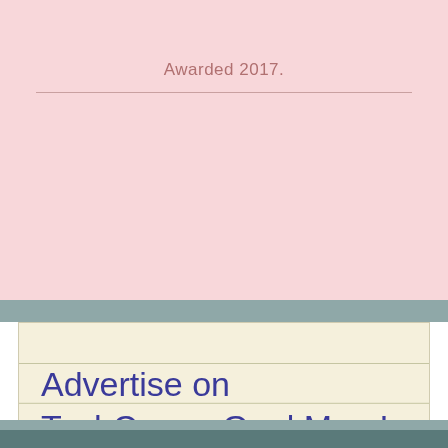Awarded 2017.
Advertise on TechComm GeekMom!
Do you have a business or product related to techcomm, e-learning or m-learning that you'd like to post here? Let me know at techcommgeekmom@me.com.